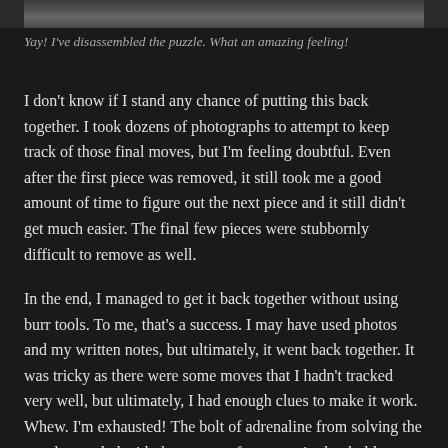[Figure (photo): Partial view of a disassembled puzzle, dark background, close-up showing puzzle pieces or components, cropped at top of page]
Yay! I've disassembled the puzzle. What an amazing feeling!
I don't know if I stand any chance of putting this back together. I took dozens of photographs to attempt to keep track of those final moves, but I'm feeling doubtful. Even after the first piece was removed, it still took me a good amount of time to figure out the next piece and it still didn't get much easier. The final few pieces were stubbornly difficult to remove as well.
In the end, I managed to get it back together without using burr tools. To me, that's a success. I may have used photos and my written notes, but ultimately, it went back together. It was tricky as there were some moves that I hadn't tracked very well, but ultimately, I had enough clues to make it work. Whew. I'm exhausted! The bolt of adrenaline from solving the puzzle coupled with the extreme focus required to hold everything together and